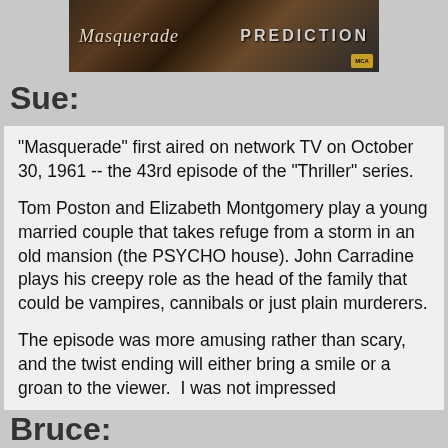[Figure (photo): Movie/TV show cover image showing titles 'Masquerade' and 'Prediction' with dark atmospheric background and a gold badge logo in the bottom right corner]
Sue:
"Masquerade" first aired on network TV on October 30, 1961 -- the 43rd episode of the "Thriller" series.

Tom Poston and Elizabeth Montgomery play a young married couple that takes refuge from a storm in an old mansion (the PSYCHO house). John Carradine plays his creepy role as the head of the family that could be vampires, cannibals or just plain murderers.


The episode was more amusing rather than scary, and the twist ending will either bring a smile or a groan to the viewer.  I was not impressed
Bruce: